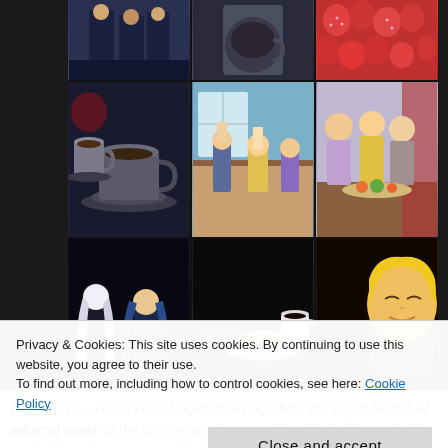[Figure (photo): Collage of anime screenshots from ACCA 13-ku Kansatsu-ka showing various scenes with characters, food, coffee cups, strawberries, and other items arranged in a 3x3 grid]
Episode 12 – At the ACCA agent briefing, there are green bottles of mineral water at the table where Jean and the chief officers sit. The night before the ceremony, Niino has some coffee
Privacy & Cookies: This site uses cookies. By continuing to use this website, you agree to their use.
To find out more, including how to control cookies, see here: Cookie Policy
Close and accept
a hookah with their tea and biscuits. Lotta gives